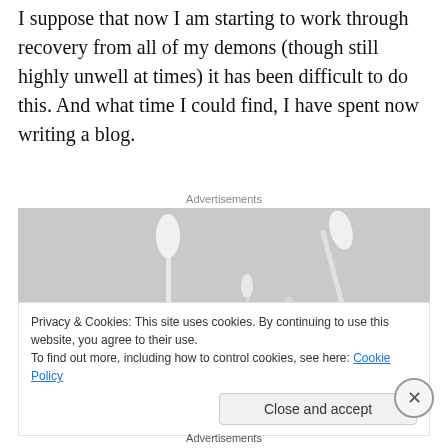I suppose that now I am starting to work through recovery from all of my demons (though still highly unwell at times) it has been difficult to do this. And what time I could find, I have spent now writing a blog.
Advertisements
[Figure (photo): Black and white photograph showing cotton swabs / medical sticks arranged against a grey background]
Privacy & Cookies: This site uses cookies. By continuing to use this website, you agree to their use.
To find out more, including how to control cookies, see here: Cookie Policy
Close and accept
Advertisements